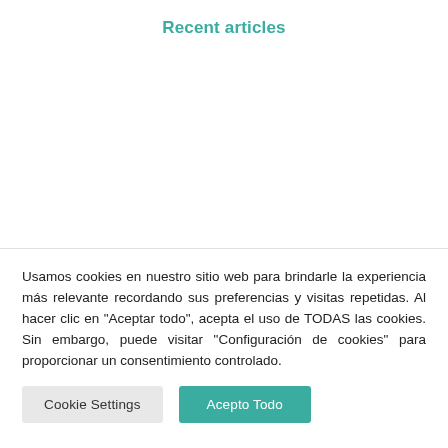Recent articles
Usamos cookies en nuestro sitio web para brindarle la experiencia más relevante recordando sus preferencias y visitas repetidas. Al hacer clic en "Aceptar todo", acepta el uso de TODAS las cookies. Sin embargo, puede visitar "Configuración de cookies" para proporcionar un consentimiento controlado.
Cookie Settings | Acepto Todo